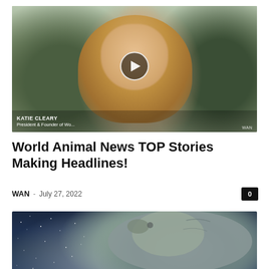[Figure (photo): Video thumbnail showing a blonde woman (Katie Cleary, President & Founder) with tropical plants in background, with a play button overlay. WAN logo in bottom right corner.]
World Animal News TOP Stories Making Headlines!
WAN - July 27, 2022
[Figure (photo): Photo showing a rhinoceros against a dark starry night sky background.]